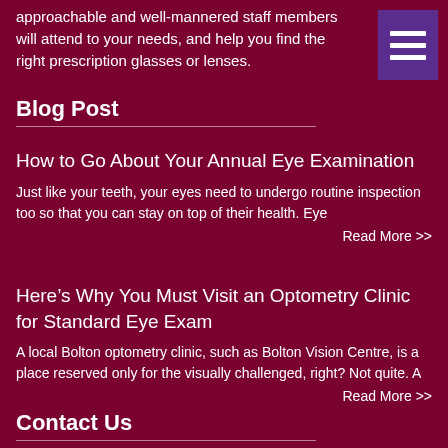approachable and well-mannered staff members will attend to your needs, and help you find the right prescription glasses or lenses.
[Figure (other): Purple hamburger menu button icon with three white horizontal bars]
Blog Post
How to Go About Your Annual Eye Examination
Just like your teeth, your eyes need to undergo routine inspection too so that you can stay on top of their health. Eye
Read More >>
Here’s Why You Must Visit an Optometry Clinic for Standard Eye Exam
A local Bolton optometry clinic, such as Bolton Vision Centre, is a place reserved only for the visually challenged, right? Not quite. A
Read More >>
Contact Us